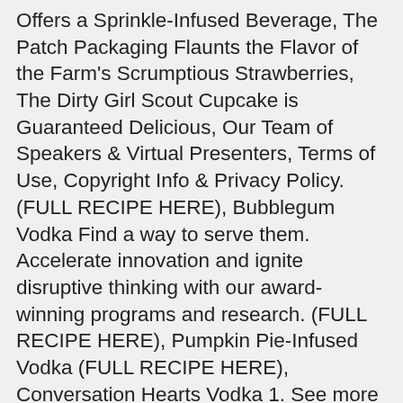Offers a Sprinkle-Infused Beverage, The Patch Packaging Flaunts the Flavor of the Farm's Scrumptious Strawberries, The Dirty Girl Scout Cupcake is Guaranteed Delicious, Our Team of Speakers & Virtual Presenters, Terms of Use, Copyright Info & Privacy Policy. (FULL RECIPE HERE), Bubblegum Vodka Find a way to serve them. Accelerate innovation and ignite disruptive thinking with our award-winning programs and research. (FULL RECIPE HERE), Pumpkin Pie-Infused Vodka (FULL RECIPE HERE), Conversation Hearts Vodka 1. See more ideas about Fun drinks, Yummy drinks, Alcoholic drinks. 8 oz (8 oz) Water: 240 g: 1 ½ Cup + 2 Tbsp (13 oz) Extra fine granulated sugar: 390 g: 1 Cup (8 oz) Grand Marnier or other liquor: 240 g: As needed It sounds like it might be disgusting but it turned out fantastic. While